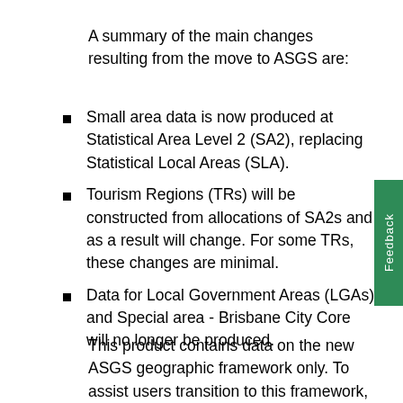A summary of the main changes resulting from the move to ASGS are:
Small area data is now produced at Statistical Area Level 2 (SA2), replacing Statistical Local Areas (SLA).
Tourism Regions (TRs) will be constructed from allocations of SA2s and as a result will change. For some TRs, these changes are minimal.
Data for Local Government Areas (LGAs) and Special area - Brisbane City Core will no longer be produced.
This product contains data on the new ASGS geographic framework only. To assist users transition to this framework, small area data for March